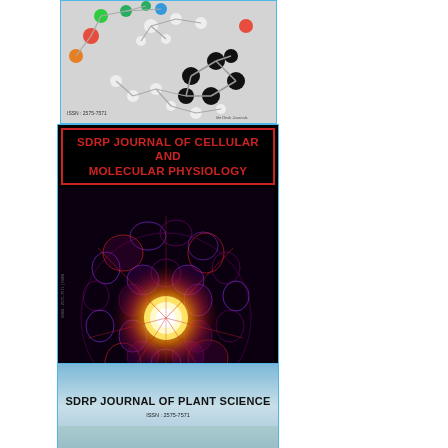[Figure (illustration): Journal cover showing molecular model (ball-and-stick) on grey background. ISSN: 2575-7571 shown bottom left. Life Desk Journals branding bottom right.]
[Figure (illustration): SDRP Journal of Cellular and Molecular Physiology cover. Red text title on black background with red border. Lower half shows fluorescence microscopy image of cells with glowing nucleus (purple/red tones). ISSN: 2575-7571 on side. Life Desk Journals branding.]
[Figure (illustration): SDRP Journal of Plant Science cover. Light blue/grey gradient background with bold black title text. ISSN: 2575-7571 shown below title.]